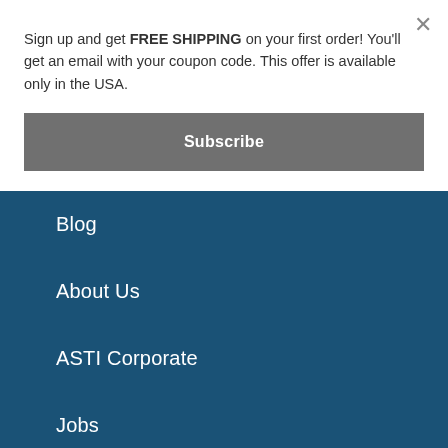Sign up and get FREE SHIPPING on your first order! You'll get an email with your coupon code. This offer is available only in the USA.
Subscribe
Blog
About Us
ASTI Corporate
Jobs
Affiliate Program